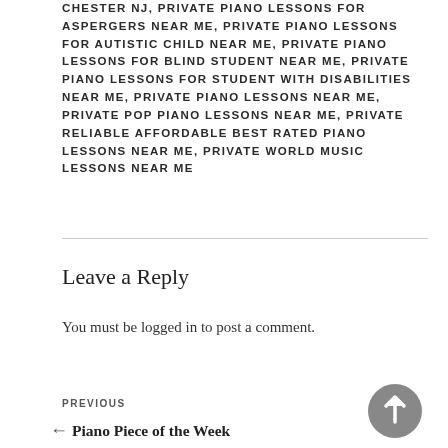CHESTER NJ, PRIVATE PIANO LESSONS FOR ASPERGERS NEAR ME, PRIVATE PIANO LESSONS FOR AUTISTIC CHILD NEAR ME, PRIVATE PIANO LESSONS FOR BLIND STUDENT NEAR ME, PRIVATE PIANO LESSONS FOR STUDENT WITH DISABILITIES NEAR ME, PRIVATE PIANO LESSONS NEAR ME, PRIVATE POP PIANO LESSONS NEAR ME, PRIVATE RELIABLE AFFORDABLE BEST RATED PIANO LESSONS NEAR ME, PRIVATE WORLD MUSIC LESSONS NEAR ME
Leave a Reply
You must be logged in to post a comment.
PREVIOUS
← Piano Piece of the Week